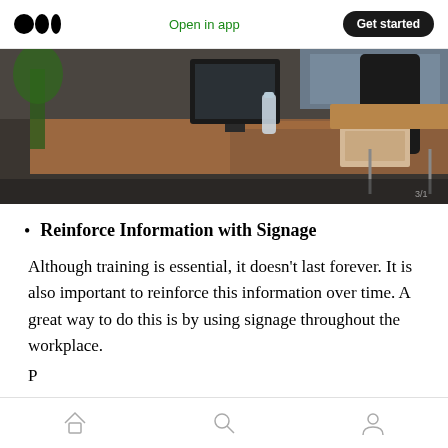Medium logo | Open in app | Get started
[Figure (photo): Office workspace with wooden desks, computers, chairs, a water bottle, and office supplies; open plan coworking space]
Reinforce Information with Signage
Although training is essential, it doesn't last forever. It is also important to reinforce this information over time. A great way to do this is by using signage throughout the workplace.
Bottom navigation bar with home, search, and profile icons